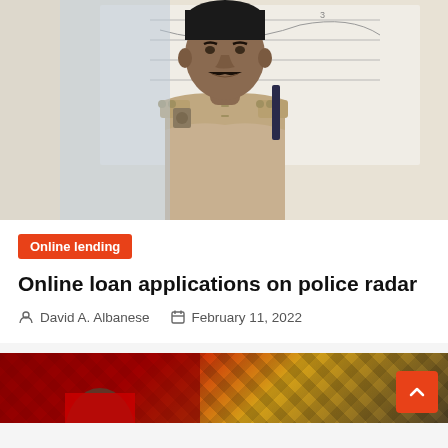[Figure (photo): Photo of a police officer in khaki uniform sitting at a desk with papers/charts in the background]
Online lending
Online loan applications on police radar
David A. Albanese   February 11, 2022
[Figure (photo): Partial photo of another person, partially visible at the bottom of the page, with a geometric patterned background]